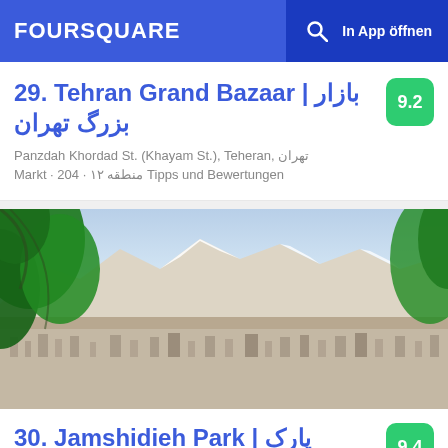FOURSQUARE | In App öffnen
29. Tehran Grand Bazaar | بازار بزرگ تهران
Panzdah Khordad St. (Khayam St.), Teheran, تهران
Markt · 204 · ۱۲ منطقه Tipps und Bewertungen
[Figure (photo): Panoramic aerial view of Tehran city with mountains (Alborz range with snow) in the background, lush green trees in the foreground]
30. Jamshidieh Park | پارک جمشیدیه
Omidvar St. (Bahonar St.), Teheran, تهران